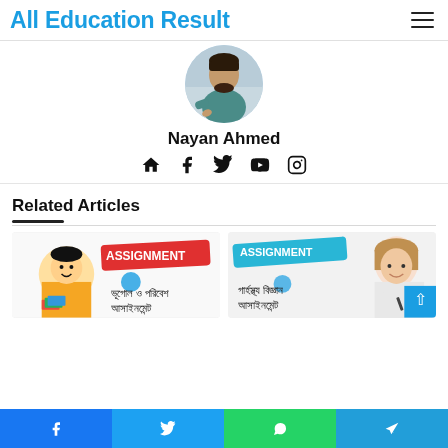All Education Result
[Figure (photo): Circular profile photo of a man at a desk writing, used as author avatar for Nayan Ahmed]
Nayan Ahmed
[Figure (infographic): Social media icons: home, Facebook, Twitter, YouTube, Instagram]
Related Articles
[Figure (photo): Article thumbnail showing a cartoon student with ASSIGNMENT text and Bengali text: ভূগোল ও পরিবেশ আসাইনমেন্ট]
[Figure (photo): Article thumbnail showing a girl student with ASSIGNMENT text and Bengali text: গার্হস্থ্য বিজ্ঞান আসাইনমেন্ট]
Facebook  Twitter  WhatsApp  Telegram